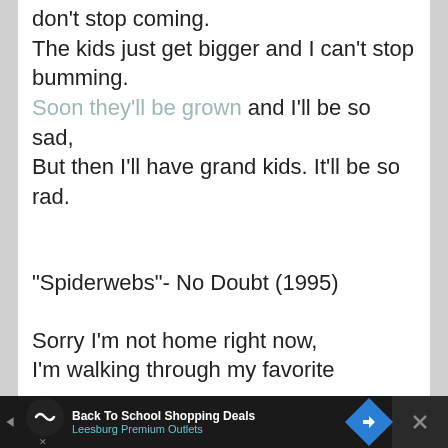don't stop coming.
The kids just get bigger and I can't stop bumming.
Soon they'll be grown and I'll be so sad,
But then I'll have grand kids. It'll be so rad.
“Spiderwebs”- No Doubt (1995)
Sorry I’m not home right now,
I’m walking through my favorite
[Figure (other): Advertisement bar at bottom: Back To School Shopping Deals - Leesburg Premium Outlets with navigation icons]